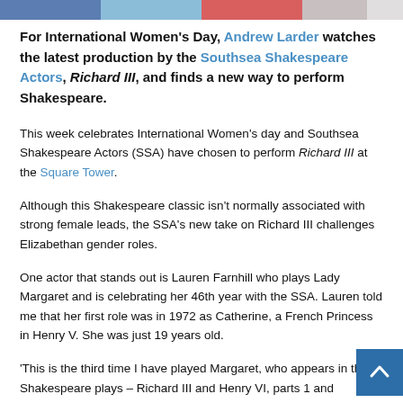[Figure (infographic): Colored header bar segments: blue, light blue, red/pink, grey, light grey]
For International Women's Day, Andrew Larder watches the latest production by the Southsea Shakespeare Actors, Richard III, and finds a new way to perform Shakespeare.
This week celebrates International Women's day and Southsea Shakespeare Actors (SSA) have chosen to perform Richard III at the Square Tower.
Although this Shakespeare classic isn't normally associated with strong female leads, the SSA's new take on Richard III challenges Elizabethan gender roles.
One actor that stands out is Lauren Farnhill who plays Lady Margaret and is celebrating her 46th year with the SSA. Lauren told me that her first role was in 1972 as Catherine, a French Princess in Henry V. She was just 19 years old.
'This is the third time I have played Margaret, who appears in three Shakespeare plays – Richard III and Henry VI, parts 1 and